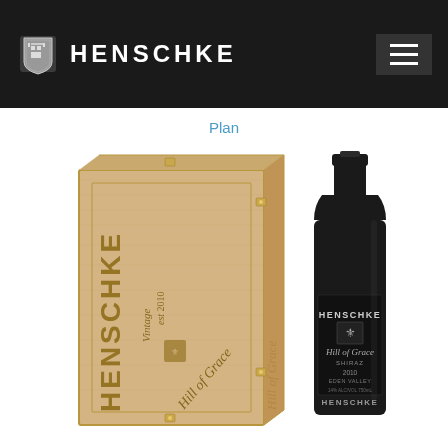HENSCHKE
Plan
[Figure (photo): Henschke Hill of Grace 2010 wine bottle next to a wooden presentation box with 'HENSCHKE Vintage 2010 Hill of Grace' engraved on the side.]